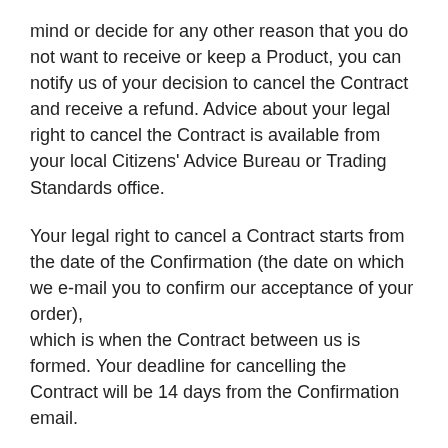mind or decide for any other reason that you do not want to receive or keep a Product, you can notify us of your decision to cancel the Contract and receive a refund. Advice about your legal right to cancel the Contract is available from your local Citizens' Advice Bureau or Trading Standards office.
Your legal right to cancel a Contract starts from the date of the Confirmation (the date on which we e-mail you to confirm our acceptance of your order), which is when the Contract between us is formed. Your deadline for cancelling the Contract will be 14 days from the Confirmation email.
To cancel a Contract, you just need to let us know that you have decided to cancel. You can e-mail us at info@go2drivingschool.co.uk or contact 07825 312 338 or post to 20 Silverhill Road, Spondon, Derby, DE21 7HA. If you are e-mailing us or writing to us please include details of